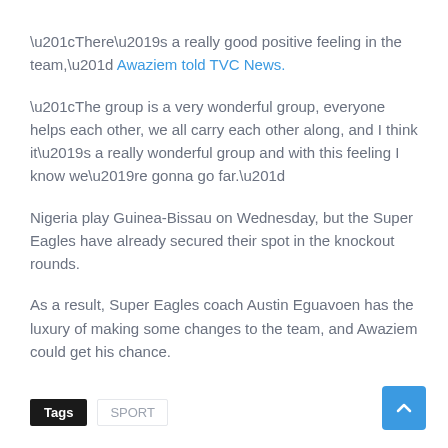“There’s a really good positive feeling in the team,” Awaziem told TVC News.
“The group is a very wonderful group, everyone helps each other, we all carry each other along, and I think it’s a really wonderful group and with this feeling I know we’re gonna go far.”
Nigeria play Guinea-Bissau on Wednesday, but the Super Eagles have already secured their spot in the knockout rounds.
As a result, Super Eagles coach Austin Eguavoen has the luxury of making some changes to the team, and Awaziem could get his chance.
Tags  SPORT